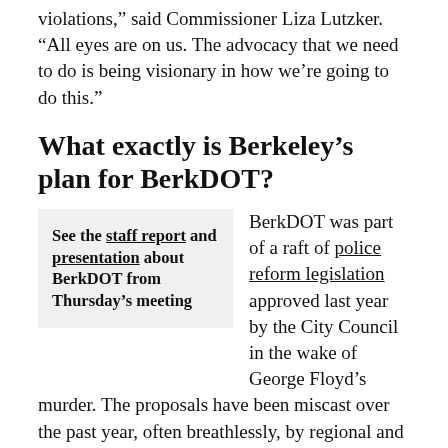violations,” said Commissioner Liza Lutzker. “All eyes are on us. The advocacy that we need to do is being visionary in how we’re going to do this.”
What exactly is Berkeley’s plan for BerkDOT?
See the staff report and presentation about BerkDOT from Thursday’s meeting
BerkDOT was part of a raft of police reform legislation approved last year by the City Council in the wake of George Floyd’s murder. The proposals have been miscast over the past year, often breathlessly, by regional and national news outlets that have repeatedly characterized the changes as a done deal.